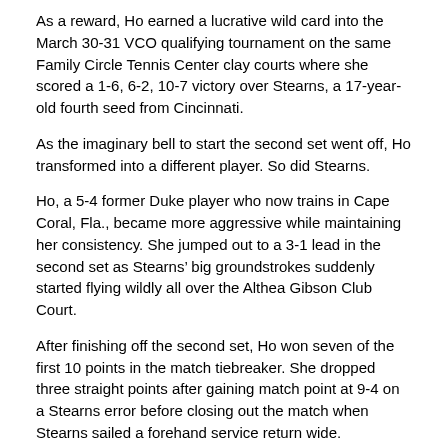As a reward, Ho earned a lucrative wild card into the March 30-31 VCO qualifying tournament on the same Family Circle Tennis Center clay courts where she scored a 1-6, 6-2, 10-7 victory over Stearns, a 17-year-old fourth seed from Cincinnati.
As the imaginary bell to start the second set went off, Ho transformed into a different player. So did Stearns.
Ho, a 5-4 former Duke player who now trains in Cape Coral, Fla., became more aggressive while maintaining her consistency. She jumped out to a 3-1 lead in the second set as Stearns' big groundstrokes suddenly started flying wildly all over the Althea Gibson Club Court.
After finishing off the second set, Ho won seven of the first 10 points in the match tiebreaker. She dropped three straight points after gaining match point at 9-4 on a Stearns error before closing out the match when Stearns sailed a forehand service return wide.
“I dropped my energy and I couldn’t get it back,” said Stearns.
Ho was impressed by Stearns’ game in the first set.
“She was playing amazing tennis,” said Ho, the fifth seed in the 32-player draw, which used the Universal Tennis Rating format. “I had never played her before, but I was impressed with her forehand. It was awesome all of the time. I think it’s the best I’ve ever seen. Her backhand was pretty amazing as well.
“But I just let myself go in the second set,” added Ho, who played one